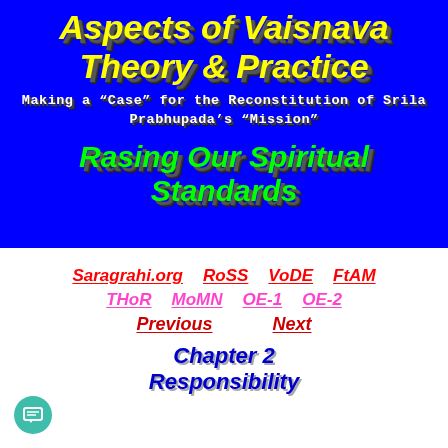Aspects of Vaisnava Theory & Practice
Making a "Case" for the Reconstitution of Srila Prabhupada's "Mission"
Rasing Our Spiritual Standards
Saragrahi.org  RoSS  VoDE  FtAM
THoR  MoMN  OE-1  OE-2
Previous  Next
Chapter 2 Responsibility